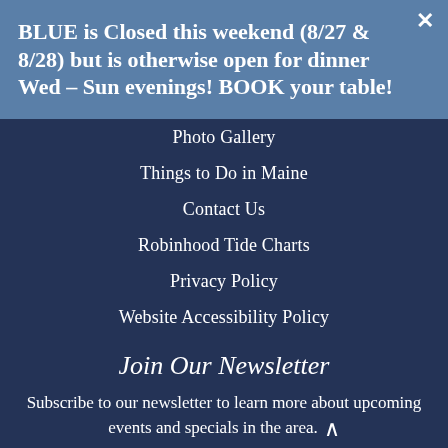BLUE is Closed this weekend (8/27 & 8/28) but is otherwise open for dinner Wed – Sun evenings! BOOK your table!
Photo Gallery
Things to Do in Maine
Contact Us
Robinhood Tide Charts
Privacy Policy
Website Accessibility Policy
Join Our Newsletter
Subscribe to our newsletter to learn more about upcoming events and specials in the area.
Email  Call  Book